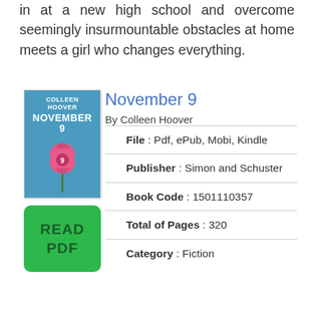in at a new high school and overcome seemingly insurmountable obstacles at home meets a girl who changes everything.
November 9
By Colleen Hoover
[Figure (illustration): Book cover of November 9 by Colleen Hoover, blue background with author name, title, and flower illustration]
[Figure (other): Green READ PDF button]
File : Pdf, ePub, Mobi, Kindle
Publisher : Simon and Schuster
Book Code : 1501110357
Total of Pages : 320
Category : Fiction